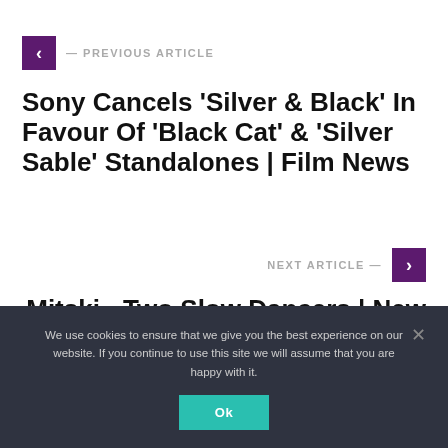← PREVIOUS ARTICLE
Sony Cancels 'Silver & Black' In Favour Of 'Black Cat' & 'Silver Sable' Standalones | Film News
NEXT ARTICLE →
Mitski - Two Slow Dancers | New Music
We use cookies to ensure that we give you the best experience on our website. If you continue to use this site we will assume that you are happy with it.